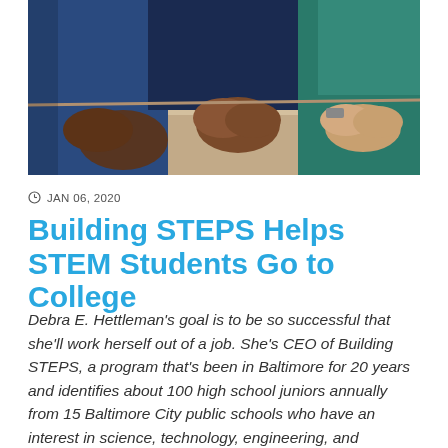[Figure (photo): Three people sitting at a table with their hands resting on it, cropped to show torsos and hands only. Two people wearing blue clothing on left, one person in teal/green on right.]
JAN 06, 2020
Building STEPS Helps STEM Students Go to College
Debra E. Hettleman's goal is to be so successful that she'll work herself out of a job. She's CEO of Building STEPS, a program that's been in Baltimore for 20 years and identifies about 100 high school juniors annually from 15 Baltimore City public schools who have an interest in science, technology, engineering, and mathematics [...]